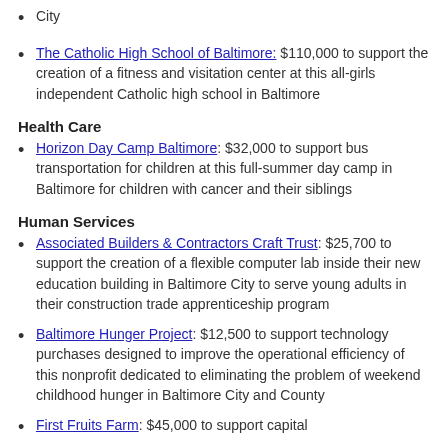City
The Catholic High School of Baltimore: $110,000 to support the creation of a fitness and visitation center at this all-girls independent Catholic high school in Baltimore
Health Care
Horizon Day Camp Baltimore: $32,000 to support bus transportation for children at this full-summer day camp in Baltimore for children with cancer and their siblings
Human Services
Associated Builders & Contractors Craft Trust: $25,700 to support the creation of a flexible computer lab inside their new education building in Baltimore City to serve young adults in their construction trade apprenticeship program
Baltimore Hunger Project: $12,500 to support technology purchases designed to improve the operational efficiency of this nonprofit dedicated to eliminating the problem of weekend childhood hunger in Baltimore City and County
First Fruits Farm: $45,000 to support capital